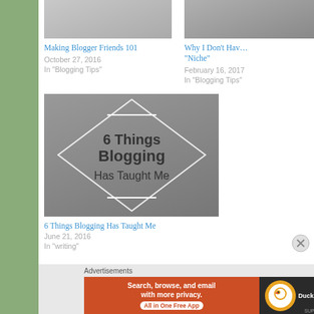[Figure (photo): Cropped top image of laptop/desk scene for Making Blogger Friends 101]
Making Blogger Friends 101
October 27, 2016
In "Blogging Tips"
[Figure (photo): Partial cropped image for Why I Don't Have a Niche post]
Why I Don't Have a "Niche"
February 16, 2017
In "Blogging Tips"
[Figure (photo): Blog post thumbnail showing laptop with text overlay: 6 Things Blogging Has Taught Me, with diamond/chevron shape overlay]
6 Things Blogging Has Taught Me
June 21, 2016
In "writing"
Advertisements
[Figure (screenshot): DuckDuckGo advertisement banner: Search, browse, and email with more privacy. All in One Free App]